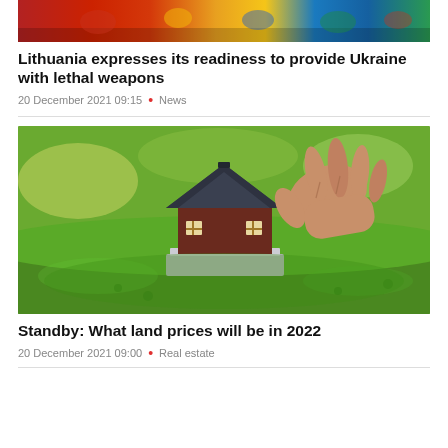[Figure (photo): Colorful banner image at top of page showing people with flags]
Lithuania expresses its readiness to provide Ukraine with lethal weapons
20 December 2021 09:15 • News
[Figure (photo): A hand holding a small model house on green grass]
Standby: What land prices will be in 2022
20 December 2021 09:00 • Real estate